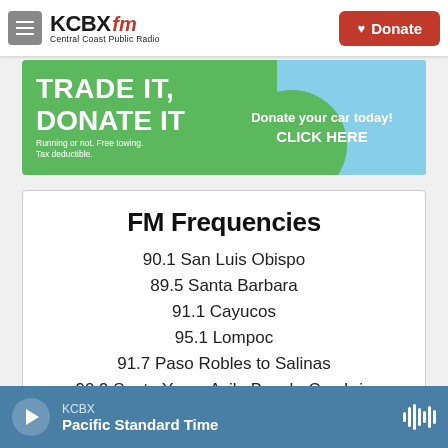KCBX FM Central Coast Public Radio | Donate
[Figure (infographic): Green banner advertisement: TRADE IT, DONATE IT. Running or not. Free towing. Tax deductible. Donate your car today! CLICK HERE]
FM Frequencies
90.1 San Luis Obispo
89.5 Santa Barbara
91.1 Cayucos
95.1 Lompoc
91.7 Paso Robles to Salinas
90.9 Santa Ynez, Avila Beach, Cambria
KCBX | Pacific Standard Time